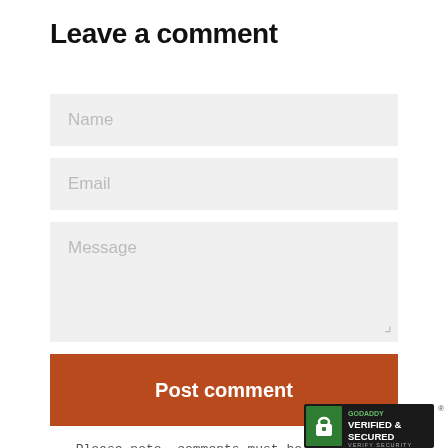Leave a comment
[Figure (screenshot): Web comment form with Name, Email, Message input fields, a Post comment button, a note about approval, and a GoDaddy Verified & Secured badge]